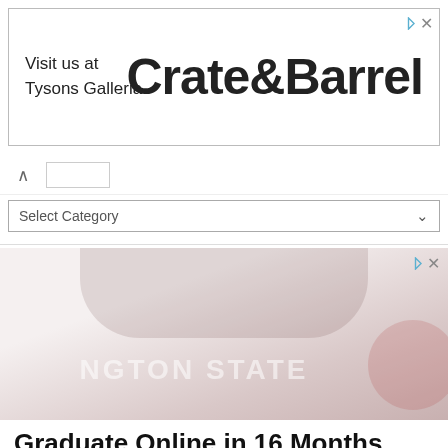[Figure (other): Crate & Barrel advertisement banner with text 'Visit us at Tysons Galleria.' on the left and 'Crate&Barrel' in large bold font on the right]
Select Category
[Figure (other): Washington State University advertisement banner showing a faded background image with 'NGTON STATE' text visible and a Cougar logo on the right]
Graduate Online in 16 Months
Graduate from Top-Ranked